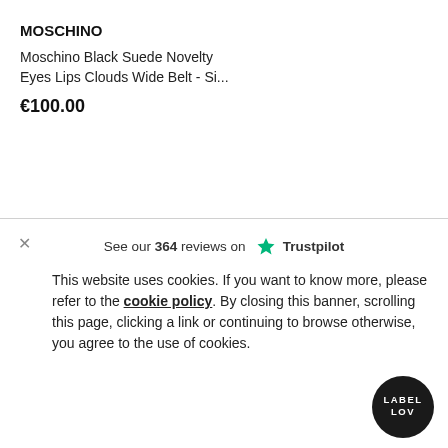MOSCHINO
Moschino Black Suede Novelty Eyes Lips Clouds Wide Belt - Si...
€100.00
See our 364 reviews on Trustpilot
This website uses cookies. If you want to know more, please refer to the cookie policy. By closing this banner, scrolling this page, clicking a link or continuing to browse otherwise, you agree to the use of cookies.
[Figure (logo): Label LOV circular black logo with white text]